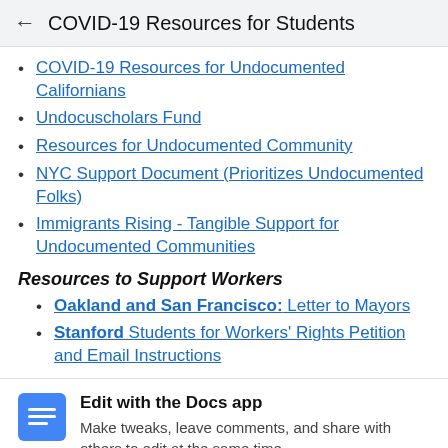COVID-19 Resources for Students
COVID-19 Resources for Undocumented Californians
Undocuscholars Fund
Resources for Undocumented Community
NYC Support Document (Prioritizes Undocumented Folks)
Immigrants Rising - Tangible Support for Undocumented Communities
Resources to Support Workers
Oakland and San Francisco: Letter to Mayors
Stanford Students for Workers' Rights Petition and Email Instructions
Edit with the Docs app
Make tweaks, leave comments, and share with others to edit at the same time.
NO THANKS | GET THE APP